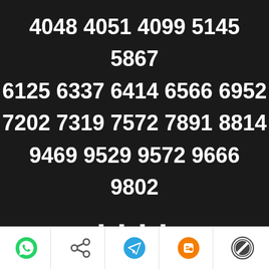4048 4051 4099 5145
5867
6125 6337 6414 6566 6952
7202 7319 7572 7891 8814
9469 9529 9572 9666
9802
----
Social share icons: WhatsApp, Share, Telegram, Blogger, WordPress